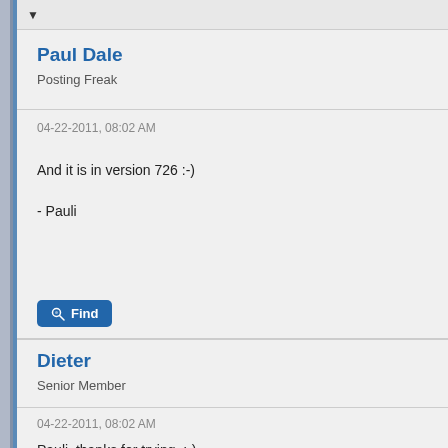▼
Paul Dale
Posting Freak
04-22-2011, 08:02 AM
And it is in version 726 :-)
- Pauli
[Figure (other): Find button with magnifying glass icon]
Dieter
Senior Member
04-22-2011, 08:02 AM
Pauli, thanks for trying. ;-)